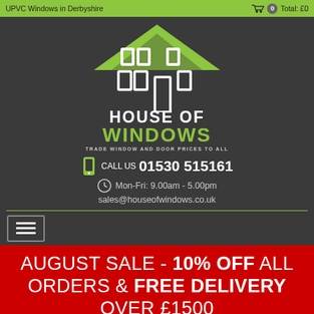UPVC Windows in Derbyshire | 0  Total: £0
[Figure (logo): House of Windows logo: house silhouette with green roof, white window and door outlines on dark background, with text HOUSE OF WINDOWS and tagline TRADE WINDOW AND DOOR PRICES TO ALL]
CALL US 01530 515161
Mon-Fri: 9.00am - 5.00pm
sales@houseofwindows.co.uk
AUGUST SALE - 10% OFF ALL ORDERS & FREE DELIVERY OVER £1500
ENERGY EFFICIENT